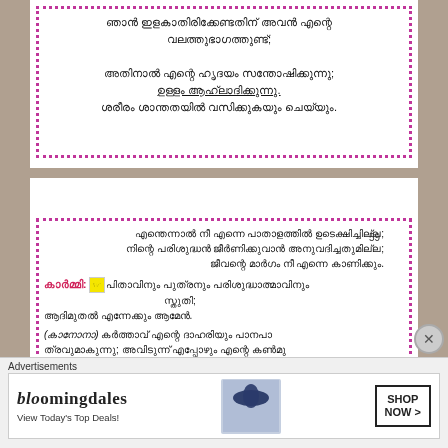ഞാൻ ഇളകാതിരിക്കേണ്ടതിന് അവൻ എന്റെ വലത്തുഭാഗത്തുണ്ട്; അതിനാൽ എന്റെ ഹൃദയം സന്തോഷിക്കുന്നു; ഉള്ളം ആഹ്ലാദിക്കുന്നു. ശരീരം ശാന്തതയിൽ വസിക്കുകയും ചെയ്യും.
59
എന്തെന്നാൽ നീ എന്നെ പാതാളത്തിൽ ഉടെക്ഷിച്ചില്ല; നിന്റെ പരിശുദ്ധൻ ജീർണിക്കുവാൻ അനുവദിച്ചതുമില്ല; ജീവന്റെ മാർഗം നീ എന്നെ കാണിക്കും.
കാർമ്മി: പിതാവിനും പുത്രനും പരിശുദ്ധാത്മാവിനും സ്തുതി; ആദിമുതൽ എന്നേക്കും ആമേൻ.
(കാനോനാ) കർത്താവ് എന്റെ ദാഹരിയും പാനപാത്രവുമാകുന്നു; അവിടുന്ന് എപ്പോഴും എന്റെ കൺമുതിരുണ്ട്; എന്റെ ദേഹദ്യേശം അവിടുന്നെ കരങ്ങളിലാകുന്നു; അവിടുന്ന് എനിക്ക് ജീവന്റെ മാർഗം കാണിച്ചതന്നു.
Advertisements
[Figure (other): Bloomingdale's advertisement banner: 'bloomingdales View Today's Top Deals!' with woman in hat, and 'SHOP NOW >' button]